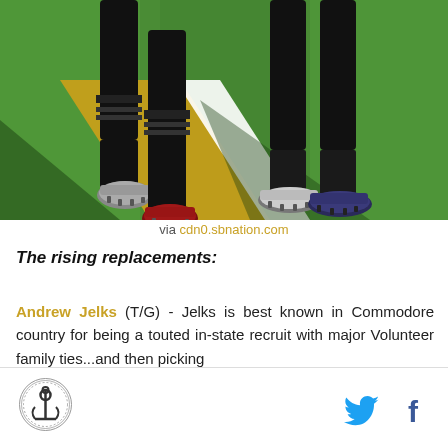[Figure (photo): Close-up photo of football players' legs and cleats on a green field with yard line markings visible. Players wear black socks and cleats.]
via cdn0.sbnation.com
The rising replacements:
Andrew Jelks (T/G) - Jelks is best known in Commodore country for being a touted in-state recruit with major Volunteer family ties...and then picking
[Figure (logo): Circular anchor logo (Vanderbilt Commodores)]
[Figure (illustration): Twitter bird icon and Facebook f icon in footer]